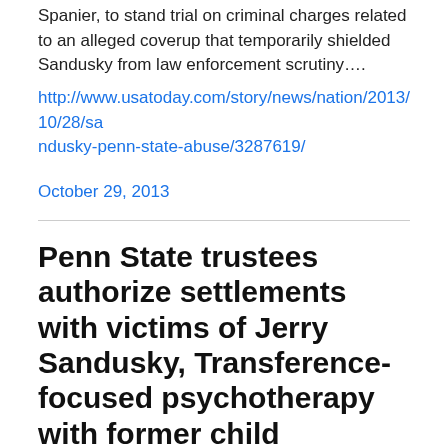Spanier, to stand trial on criminal charges related to an alleged coverup that temporarily shielded Sandusky from law enforcement scrutiny….
http://www.usatoday.com/story/news/nation/2013/10/28/sandusky-penn-state-abuse/3287619/
October 29, 2013
Penn State trustees authorize settlements with victims of Jerry Sandusky, Transference-focused psychotherapy with former child soldiers, Structural dissociation and its